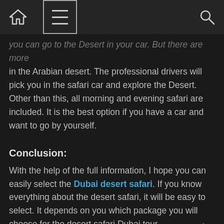Navigation bar with home, menu, and search icons
you can go to the Desert in your car. But there are more in the Arabian desert. The professional drivers will pick you in the safari car and explore the Desert. Other than this, all morning and evening safari are included. It is the best option if you have a car and want to go by yourself.
Conclusion:
With the help of the full information, I hope you can easily select the Dubai desert safari. If you know everything about the desert safari, it will be easy to select. It depends on you which package you will choose for the desert safari Dubai tour.